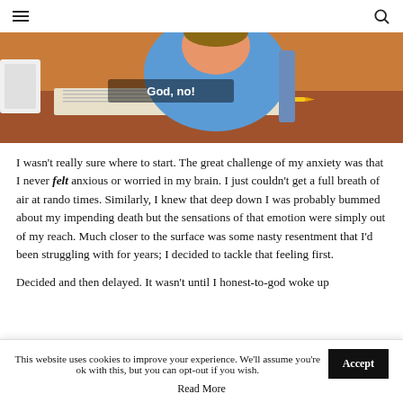[hamburger menu] [search icon]
[Figure (illustration): Animated cartoon screenshot showing a character in a blue shirt looking down at papers, with subtitle text 'God, no!' on screen]
I wasn't really sure where to start. The great challenge of my anxiety was that I never felt anxious or worried in my brain. I just couldn't get a full breath of air at rando times. Similarly, I knew that deep down I was probably bummed about my impending death but the sensations of that emotion were simply out of my reach. Much closer to the surface was some nasty resentment that I'd been struggling with for years; I decided to tackle that feeling first.
Decided and then delayed. It wasn't until I honest-to-god woke up
This website uses cookies to improve your experience. We'll assume you're ok with this, but you can opt-out if you wish. [Accept] Read More